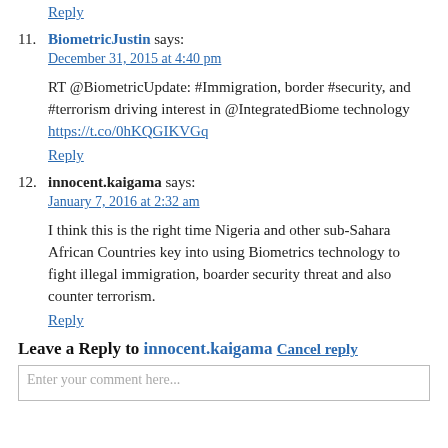technology https://t.co/S0pAZ4ELL (truncated at top)
Reply (top)
11. BiometricJustin says: December 31, 2015 at 4:40 pm
RT @BiometricUpdate: #Immigration, border #security, and #terrorism driving interest in @IntegratedBiome technology https://t.co/0hKQGIKVGq
Reply
12. innocent.kaigama says: January 7, 2016 at 2:32 am
I think this is the right time Nigeria and other sub-Sahara African Countries key into using Biometrics technology to fight illegal immigration, boarder security threat and also counter terrorism.
Reply
Leave a Reply to innocent.kaigama Cancel reply
Enter your comment here...